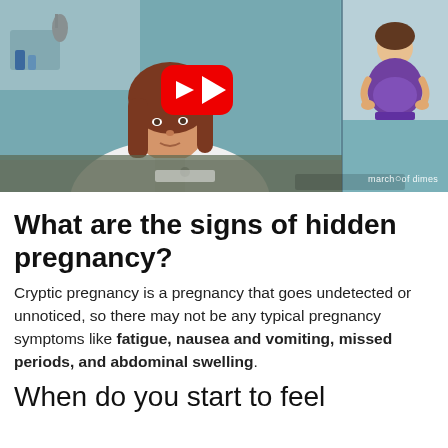[Figure (screenshot): Video thumbnail showing a female doctor in a white coat in a medical office setting, with a YouTube play button overlay in the center. Small inset of a pregnant woman in purple in the top right. March of Dimes watermark in the bottom right.]
What are the signs of hidden pregnancy?
Cryptic pregnancy is a pregnancy that goes undetected or unnoticed, so there may not be any typical pregnancy symptoms like fatigue, nausea and vomiting, missed periods, and abdominal swelling.
When do you start to feel pregnant?